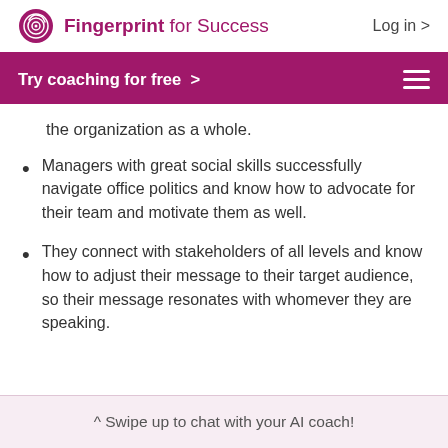Fingerprint for Success  Log in >
Try coaching for free  >
the organization as a whole.
Managers with great social skills successfully navigate office politics and know how to advocate for their team and motivate them as well.
They connect with stakeholders of all levels and know how to adjust their message to their target audience, so their message resonates with whomever they are speaking.
^ Swipe up to chat with your AI coach!